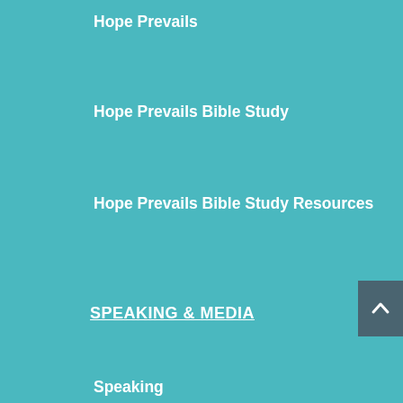Hope Prevails
Hope Prevails Bible Study
Hope Prevails Bible Study Resources
SPEAKING & MEDIA
Speaking
Media
Press Kit
RESOURCES
Blog
Podcast